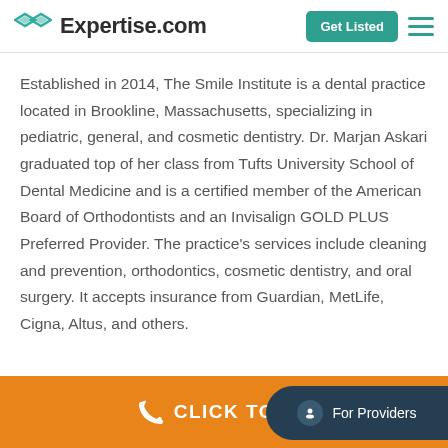Expertise.com
Established in 2014, The Smile Institute is a dental practice located in Brookline, Massachusetts, specializing in pediatric, general, and cosmetic dentistry. Dr. Marjan Askari graduated top of her class from Tufts University School of Dental Medicine and is a certified member of the American Board of Orthodontists and an Invisalign GOLD PLUS Preferred Provider. The practice's services include cleaning and prevention, orthodontics, cosmetic dentistry, and oral surgery. It accepts insurance from Guardian, MetLife, Cigna, Altus, and others.
CLICK TO CALL | For Providers